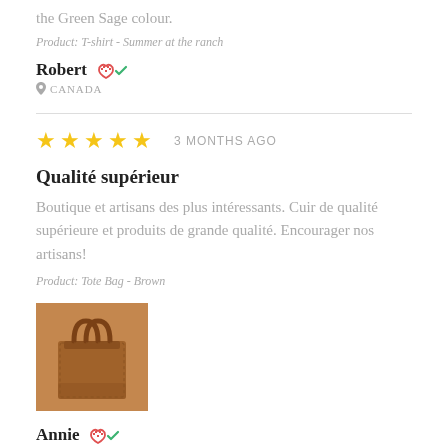the Green Sage colour.
Product: T-shirt - Summer at the ranch
Robert  CANADA
3 MONTHS AGO
Qualité supérieur
Boutique et artisans des plus intéressants. Cuir de qualité supérieure et produits de grande qualité. Encourager nos artisans!
Product: Tote Bag - Brown
[Figure (photo): Photo of a brown leather tote bag]
Annie